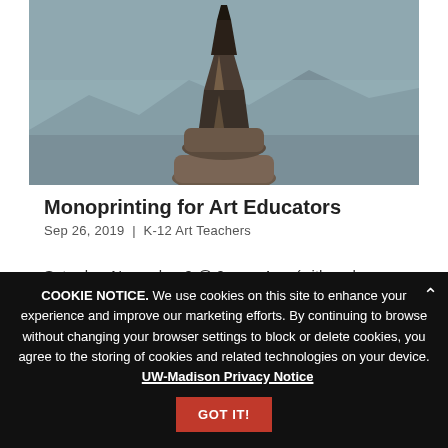[Figure (photo): Photograph of a stacked stone sculpture (cairn) against a soft mountain landscape background with muted blue-gray tones]
Monoprinting for Art Educators
Sep 26, 2019  |  K-12 Art Teachers
Saturday, November 9 @ 9am – 4pm (with an hour break for lunch) Join us for a one-day intensive workshop in monoprinting. Master Printer Andy Rubin will provide art educators an opportunity to reconnect
COOKIE NOTICE. We use cookies on this site to enhance your experience and improve our marketing efforts. By continuing to browse without changing your browser settings to block or delete cookies, you agree to the storing of cookies and related technologies on your device.   UW-Madison Privacy Notice
GOT IT!